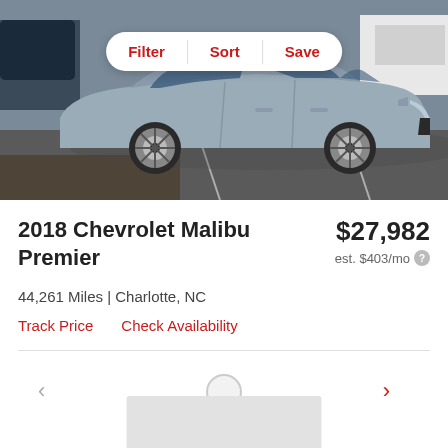[Figure (photo): Photo of a 2018 Chevrolet Malibu Premier in silver/gray parked in a lot, viewed from the side. A white pill-shaped toolbar overlay shows Filter, Sort, Save buttons in red text.]
2018 Chevrolet Malibu Premier
$27,982
est. $403/mo
44,261 Miles | Charlotte, NC
Track Price    Check Availability
[Figure (screenshot): Partial preview of next listing card below with navigation chevrons and a gray placeholder image area.]